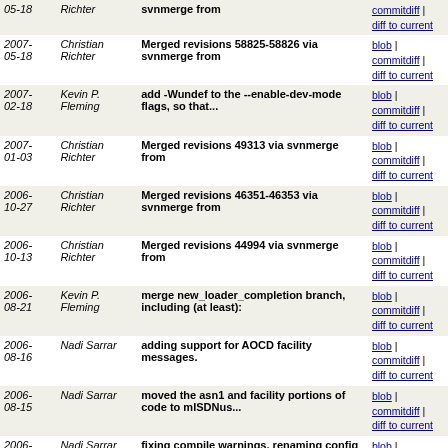| Date | Author | Message | Links |
| --- | --- | --- | --- |
| 2007-05-18 | Christian Richter | svnmerge from | blob | commitdiff | diff to current |
| 2007-05-18 | Christian Richter | Merged revisions 58825-58826 via svnmerge from | blob | commitdiff | diff to current |
| 2007-02-18 | Kevin P. Fleming | add -Wundef to the --enable-dev-mode flags, so that... | blob | commitdiff | diff to current |
| 2007-01-03 | Christian Richter | Merged revisions 49313 via svnmerge from | blob | commitdiff | diff to current |
| 2006-10-27 | Christian Richter | Merged revisions 46351-46353 via svnmerge from | blob | commitdiff | diff to current |
| 2006-10-13 | Christian Richter | Merged revisions 44994 via svnmerge from | blob | commitdiff | diff to current |
| 2006-08-21 | Kevin P. Fleming | merge new_loader_completion branch, including (at least): | blob | commitdiff | diff to current |
| 2006-08-16 | Nadi Sarrar | adding support for AOCD facility messages. | blob | commitdiff | diff to current |
| 2006-08-15 | Nadi Sarrar | moved the asn1 and facility portions of code to mISDNus... | blob | commitdiff | diff to current |
| 2006-08-09 | Nadi Sarrar | fixing compile warnings, renaming config option "overla... | blob | commitdiff | diff to current |
| 2006-08-08 | Nadi Sarrar | * first bits of decoding facility information elements | blob | commitdiff | diff to current |
| 2006-08-08 | Christian Richter | * added possibility to change echocancel settings durin... | blob | commitdiff | diff to current |
| 2006-08-03 | Christian Richter | * removed pp_l2_check (fixed L2 bug in mISDNuser) | blob | commitdiff | diff to current |
| 2006-06-01 | Christian Richter | added bearer capability reject support, we send release... | blob | commitdiff | diff to current |